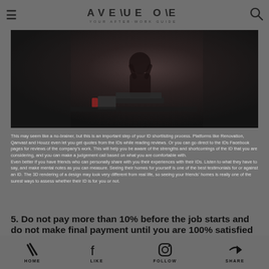AVENUE ONE — YOUR AFTER-WORK GUIDE
[Figure (photo): Dark moody photo of a person working at a laptop at night, with a red cup and open notebook on the desk]
This may seem like a no-brainer, but this is an important step of your ID shortlisting process. Platforms like Renovation, Qanvast and Houzz even let you get quotes from the IDs while reading reviews. Or you can go direct to the IDs Facebook pages for reviews of the company's work. This will help you be aware of the strengths and shortcomings of the ID that you are considering, and you can make a judgement call based on what you are comfortable with. Even better if you have friends who can personally share with you their experiences with their IDs. Listen to what they have to say, and make mental notes as you can measure. Seeing their homes for yourself is one of the best testimonials for or against an ID. The 3D rendering of a design may look very different from real life, so seeing your friends' homes is really one of the surest ways to assess whether their ID is for you or not.
5. Do not pay more than 10% before the job starts and do not make final payment until you are 100% satisfied with the work
HOME   LIKE   FOLLOW   SHARE